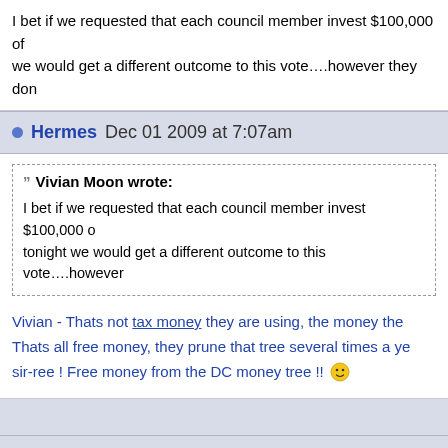I bet if we requested that each council member invest $100,000 of we would get a different outcome to this vote….however they don
Hermes Dec 01 2009 at 7:07am
Vivian Moon wrote:
I bet if we requested that each council member invest $100,000 of tonight we would get a different outcome to this vote….however
Vivian - Thats not tax money they are using, the money the Thats all free money, they prune that tree several times a ye sir-ree ! Free money from the DC money tree !!
Vivian Moon Dec 01 2009 at 7:42am